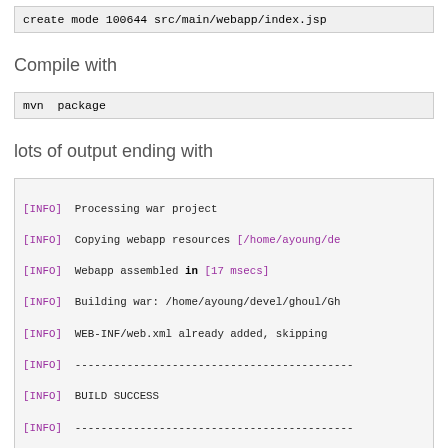create mode 100644 src/main/webapp/index.jsp
Compile with
mvn package
lots of output ending with
[INFO] Processing war project
[INFO] Copying webapp resources [/home/ayoung/de
[INFO] Webapp assembled in [17 msecs]
[INFO] Building war: /home/ayoung/devel/ghoul/Gh
[INFO] WEB-INF/web.xml already added, skipping
[INFO] -------------------------------------------
[INFO] BUILD SUCCESS
[INFO] -------------------------------------------
[INFO] Total time: 12.426 s
[INFO] Finished at: 2018-08-24T21:23:37-04:00
[INFO] Final Memory: 14M/376M
[INFO] -------------------------------------------
Run with